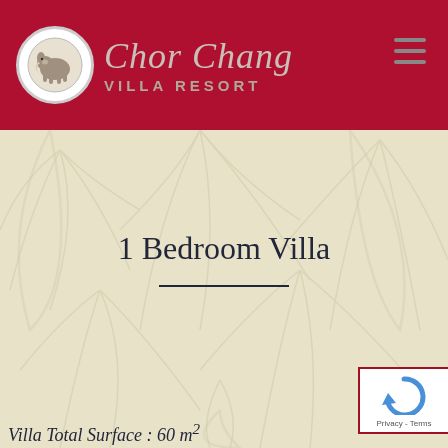[Figure (logo): Chor Chang Villa Resort header logo with red background, circular elephant logo, script brand name, and hamburger menu icon]
1 Bedroom Villa
Villa Total Surface : 60 m²